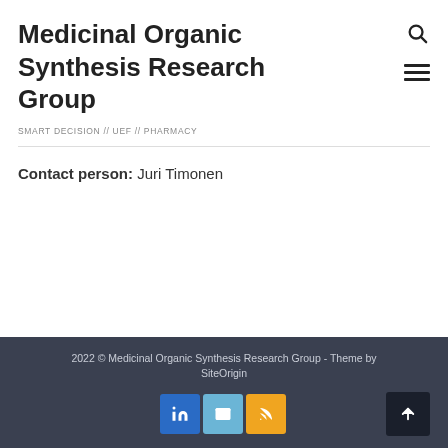Medicinal Organic Synthesis Research Group
SMART DECISION // UEF // PHARMACY
Contact person: Juri Timonen
2022 © Medicinal Organic Synthesis Research Group - Theme by SiteOrigin